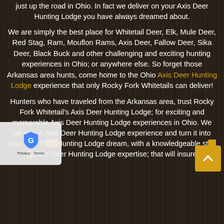just up the road in Ohio. In fact we deliver on your Axis Deer Hunting Lodge you have always dreamed about.
We are simply the best place for Whitetail Deer, Elk, Mule Deer, Red Stag, Ram, Mouflon Rams, Axis Deer, Fallow Deer, Sika Deer, Black Buck and other challenging and exciting hunting experiences in Ohio; or anywhere else. So forget those Arkansas area hunts, come home to the Ohio Axis Deer Hunting Lodge experience that only Rocky Fork Whitetails can deliver!
Hunters who have traveled from the Arkansas area, trust Rocky Fork Whitetail's Axis Deer Hunting Lodge; for exciting and memorable Axis Deer Hunting Lodge experiences in Ohio. We take your Axis Deer Hunting Lodge experience and turn it into your Axis Deer Hunting Lodge dream, with a knowledgeable staff of Axis Deer Hunting Lodge expertise; that will insure